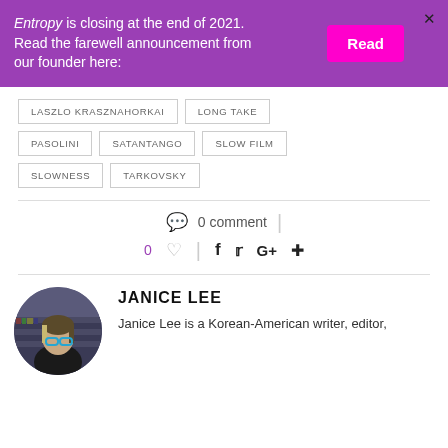Entropy is closing at the end of 2021. Read the farewell announcement from our founder here:
Read
LASZLO KRASZNAHORKAI
LONG TAKE
PASOLINI
SATANTANGO
SLOW FILM
SLOWNESS
TARKOVSKY
0 comment
0
JANICE LEE
Janice Lee is a Korean-American writer, editor,
[Figure (photo): Circular portrait photo of Janice Lee, a woman with glasses and light-streaked hair]